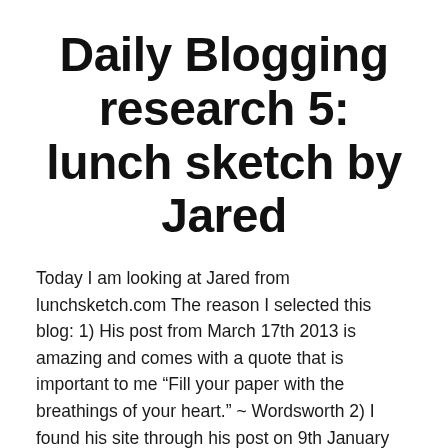Daily Blogging research 5: lunch sketch by Jared
Today I am looking at Jared from lunchsketch.com The reason I selected this blog: 1) His post from March 17th 2013 is amazing and comes with a quote that is important to me “Fill your paper with the breathings of your heart.” ~ Wordsworth 2) I found his site through his post on 9th January
Continue reading →